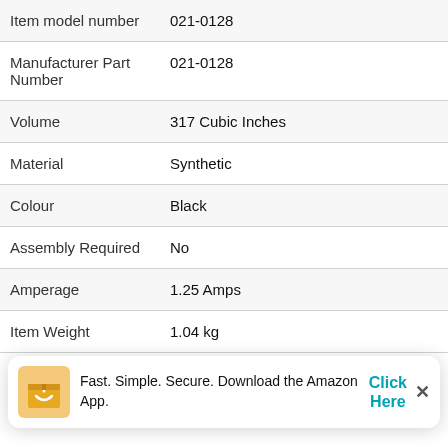| Attribute | Value |
| --- | --- |
| Item model number | 021-0128 |
| Manufacturer Part Number | 021-0128 |
| Volume | 317 Cubic Inches |
| Material | Synthetic |
| Colour | Black |
| Assembly Required | No |
| Amperage | 1.25 Amps |
| Item Weight | 1.04 kg |
Fast. Simple. Secure. Download the Amazon App.